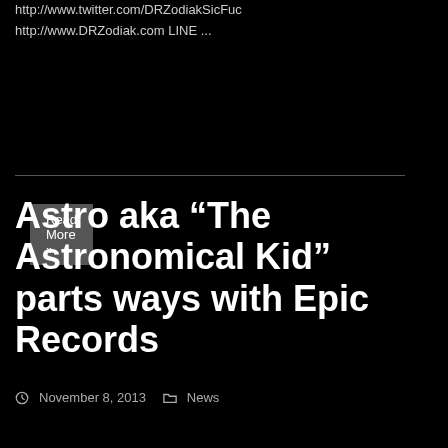http://www.twitter.com/DRZodiakSicFuc
http://www.DRZodiak.com LINE ...
Read More »
Astro aka “The Astronomical Kid” parts ways with Epic Records
November 8, 2013   News